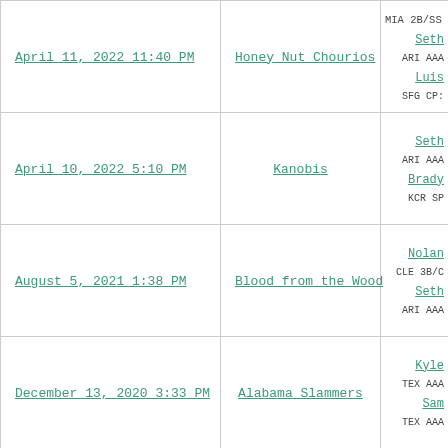| Date | Team Name | Players (partial) |
| --- | --- | --- |
| April 11, 2022 11:40 PM | Honey Nut Chourios | Seth / ARI AAA | Luis / SFG CP... |
| April 10, 2022 5:10 PM | Kanobis | Seth / ARI AAA | Brady / KCR SP |
| August 5, 2021 1:38 PM | Blood from the Wood | Nolan / CLE 3B/... | Seth / ARI AAA |
| December 13, 2020 3:33 PM | Alabama Slammers | Kyle / TEX AAA | Sam / TEX AAA |